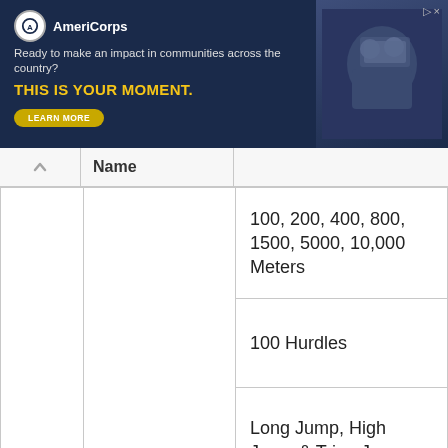[Figure (other): AmeriCorps advertisement banner. Logo with circle and text 'AmeriCorps'. Tagline: 'Ready to make an impact in communities across the country?'. Headline: 'THIS IS YOUR MOMENT.' with a 'LEARN MORE' button. Photo of people on right side.]
|  | Name | Event |
| --- | --- | --- |
| 1. | Athletics | 100, 200, 400, 800, 1500, 5000, 10,000 Meters |
|  |  | 100 Hurdles |
|  |  | Long Jump, High Jump & Tripe Jump |
|  |  | Shot Put |
|  |  | Discus Throw |
|  |  | Hammer Throw |
|  |  | Javelin Throw |